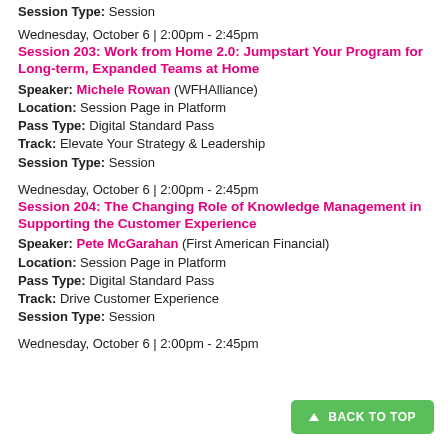Session Type: Session
Wednesday, October 6 | 2:00pm - 2:45pm
Session 203: Work from Home 2.0: Jumpstart Your Program for Long-term, Expanded Teams at Home
Speaker: Michele Rowan (WFHAlliance)
Location: Session Page in Platform
Pass Type: Digital Standard Pass
Track: Elevate Your Strategy & Leadership
Session Type: Session
Wednesday, October 6 | 2:00pm - 2:45pm
Session 204: The Changing Role of Knowledge Management in Supporting the Customer Experience
Speaker: Pete McGarahan (First American Financial)
Location: Session Page in Platform
Pass Type: Digital Standard Pass
Track: Drive Customer Experience
Session Type: Session
Wednesday, October 6 | 2:00pm - 2:45pm